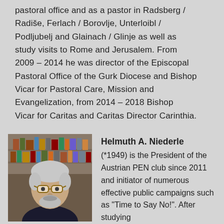pastoral office and as a pastor in Radsberg / Radiše, Ferlach / Borovlje, Unterloibl / Podljubelj and Glainach / Glinje as well as study visits to Rome and Jerusalem. From 2009 – 2014 he was director of the Episcopal Pastoral Office of the Gurk Diocese and Bishop Vicar for Pastoral Care, Mission and Evangelization, from 2014 – 2018 Bishop Vicar for Caritas and Caritas Director Carinthia.
[Figure (photo): Portrait photo of Helmuth A. Niederle, an older man with white/grey hair and glasses, wearing dark clothing, photographed against a bookshelf background.]
Helmuth A. Niederle (*1949) is the President of the Austrian PEN club since 2011 and initiator of numerous effective public campaigns such as "Time to Say No!". After studying